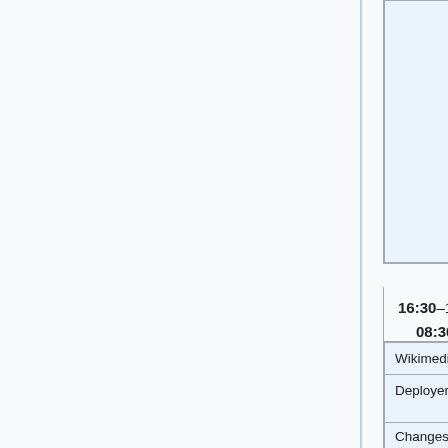remove "Create a book" link from sidebar
Bartosz (MatmaRex)
[config] 758988 (deploy commands) Enable reply tool by default on enwiki
Requesting Developer (irc-nickname)
Gerrit link to backport or config change
16:30–17:00 UTC # 08:30–09:00 PST
|  | Wikimedia Portals Update |
| --- | --- |
| Deployer | Jan Drewniak (jan_drewniak) |
| Changes | Weekly window for the... |
Changes